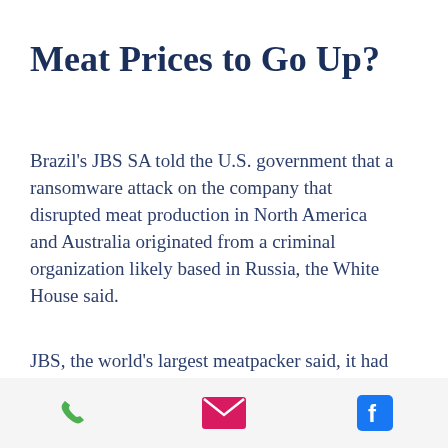Meat Prices to Go Up?
Brazil's JBS SA told the U.S. government that a ransomware attack on the company that disrupted meat production in North America and Australia originated from a criminal organization likely based in Russia, the White House said.
JBS, the world's largest meatpacker said, it had made "significant progress in resolving the cyberattack." The "vast majority" of the company's beef, pork, poultry, and prepared foods plants are operational, according to a
phone | email | facebook